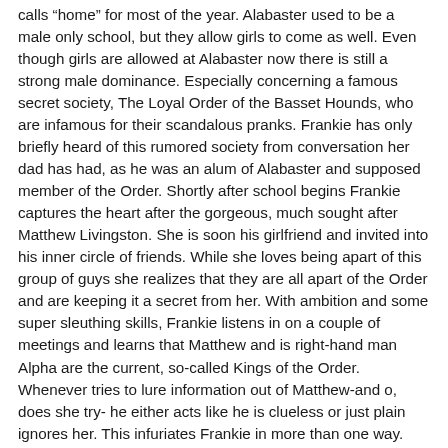calls “home” for most of the year. Alabaster used to be a male only school, but they allow girls to come as well. Even though girls are allowed at Alabaster now there is still a strong male dominance. Especially concerning a famous secret society, The Loyal Order of the Basset Hounds, who are infamous for their scandalous pranks. Frankie has only briefly heard of this rumored society from conversation her dad has had, as he was an alum of Alabaster and supposed member of the Order. Shortly after school begins Frankie captures the heart after the gorgeous, much sought after Matthew Livingston. She is soon his girlfriend and invited into his inner circle of friends. While she loves being apart of this group of guys she realizes that they are all apart of the Order and are keeping it a secret from her. With ambition and some super sleuthing skills, Frankie listens in on a couple of meetings and learns that Matthew and is right-hand man Alpha are the current, so-called Kings of the Order. Whenever tries to lure information out of Matthew-and o, does she try- he either acts like he is clueless or just plain ignores her. This infuriates Frankie in more than one way. First of all, she doesn’t think her boyfriend should be keeping secrets from